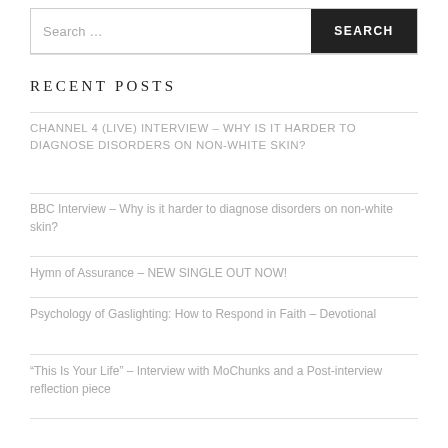Search …
RECENT POSTS
CHANNEL 4 (LIVE) INTERVIEW – WHY IS IT HARDER TO DIAGNOSE DISORDERS ON NON-WHITE SKIN?
BBC Interview – Why is it harder to diagnose disorders on non-white skin?
Hymn of Assurance – NEW SINGLE OUT NOW!
Psychology of Gaslighting: How to Respond in Faith – Devotional
“This Is Your Life” – Interview with MoChunks and a Post-interview reflection piece